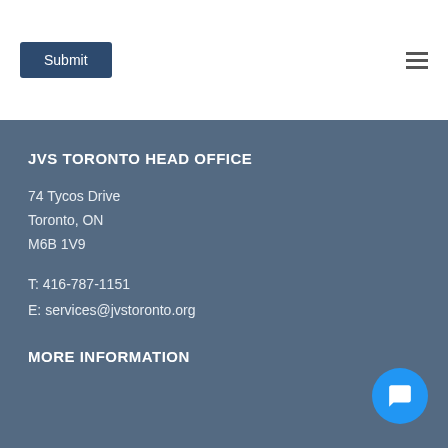Submit
JVS TORONTO HEAD OFFICE
74 Tycos Drive
Toronto, ON
M6B 1V9
T: 416-787-1151
E: services@jvstoronto.org
MORE INFORMATION